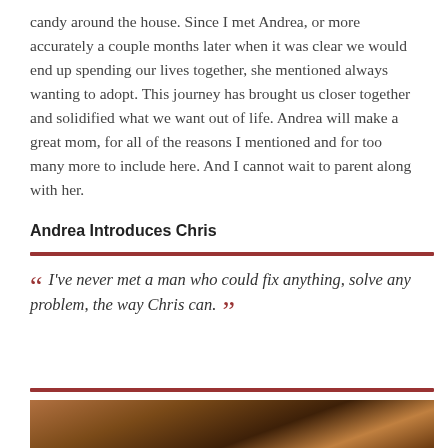candy around the house. Since I met Andrea, or more accurately a couple months later when it was clear we would end up spending our lives together, she mentioned always wanting to adopt. This journey has brought us closer together and solidified what we want out of life. Andrea will make a great mom, for all of the reasons I mentioned and for too many more to include here. And I cannot wait to parent along with her.
Andrea Introduces Chris
I've never met a man who could fix anything, solve any problem, the way Chris can.
[Figure (photo): Warm-toned interior photo showing wooden ceiling or wall planks with amber lighting]